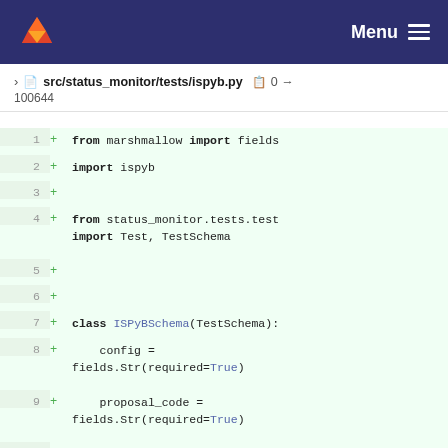Menu
src/status_monitor/tests/ispyb.py  0 →  100644
[Figure (screenshot): GitLab diff view showing a new Python file src/status_monitor/tests/ispyb.py with lines 1-12 added, containing imports and class definition for ISPyBSchema]
1  + from marshmallow import fields
2  + import ispyb
3  +
4  + from status_monitor.tests.test import Test, TestSchema
5  +
6  +
7  + class ISPyBSchema(TestSchema):
8  +     config = fields.Str(required=True)
9  +     proposal_code = fields.Str(required=True)
10 +     proposal_number = fields.Str(required=True)
11 +
12 +